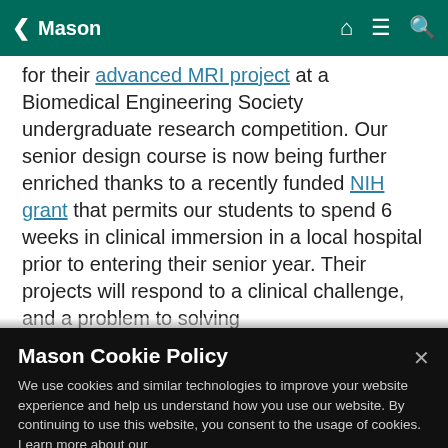Mason
for their advanced MRI project at a Biomedical Engineering Society undergraduate research competition. Our senior design course is now being further enriched thanks to a recently funded NIH grant that permits our students to spend 6 weeks in clinical immersion in a local hospital prior to entering their senior year. Their projects will respond to a clinical challenge...
Mason Cookie Policy
We use cookies and similar technologies to improve your website experience and help us understand how you use our website. By continuing to use this website, you consent to the usage of cookies. Learn more about our Cookie Policy
Cookie Preferences
Accept Cookies